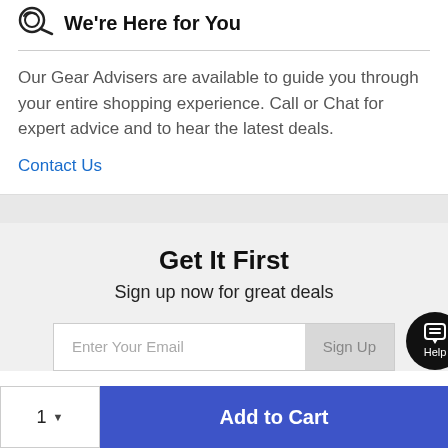We're Here for You
Our Gear Advisers are available to guide you through your entire shopping experience. Call or Chat for expert advice and to hear the latest deals.
Contact Us
Get It First
Sign up now for great deals
[Figure (screenshot): Email signup form with 'Enter Your Email' placeholder input and 'Sign Up' button, plus a circular Help button]
[Figure (screenshot): Bottom bar with quantity selector showing '1' and dropdown arrow, and blue 'Add to Cart' button]